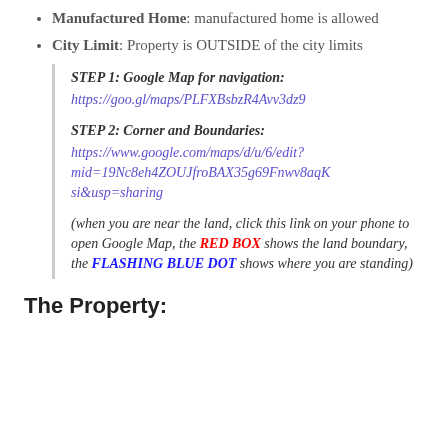Manufactured Home: manufactured home is allowed
City Limit: Property is OUTSIDE of the city limits
STEP 1: Google Map for navigation:
https://goo.gl/maps/PLFXBsbzR4Avv3dz9
STEP 2: Corner and Boundaries:
https://www.google.com/maps/d/u/6/edit?mid=19Nc8eh4ZOUJfroBAX35g69Fnwv8aqKsi&usp=sharing
(when you are near the land, click this link on your phone to open Google Map, the RED BOX shows the land boundary, the FLASHING BLUE DOT shows where you are standing)
The Property: